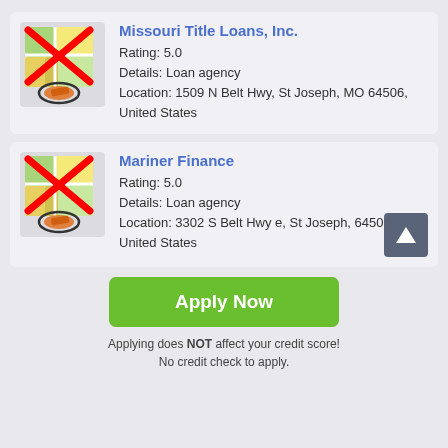[Figure (screenshot): Map placeholder icon with red X overlay and orange location pin, for Missouri Title Loans listing]
Missouri Title Loans, Inc.
Rating: 5.0
Details: Loan agency
Location: 1509 N Belt Hwy, St Joseph, MO 64506, United States
[Figure (screenshot): Map placeholder icon with red X overlay and orange location pin, for Mariner Finance listing]
Mariner Finance
Rating: 5.0
Details: Loan agency
Location: 3302 S Belt Hwy e, St Joseph, 64503, United States
Apply Now
Applying does NOT affect your credit score!
No credit check to apply.